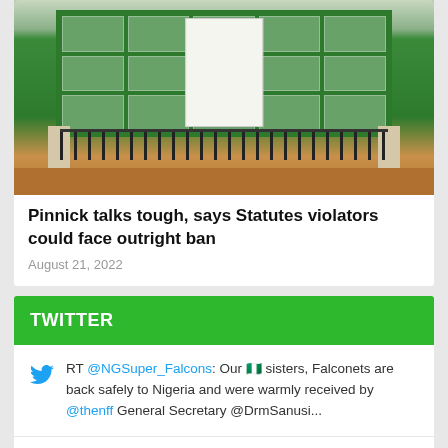[Figure (photo): Photo of a green building with iron gate fence, white pillars, and red/brown ground — appears to be a government or sports federation office.]
Pinnick talks tough, says Statutes violators could face outright ban
August 21, 2022
TWITTER
RT @NGSuper_Falcons: Our 🇳🇬 sisters, Falconets are back safely to Nigeria and were warmly received by @thenff General Secretary @DrmSanusi...
RT @NGSuper_Falcons: 📷Players and officials of the